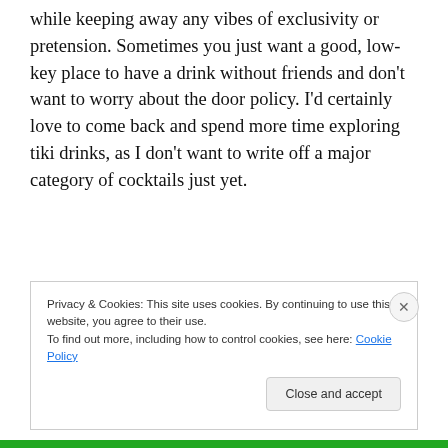while keeping away any vibes of exclusivity or pretension. Sometimes you just want a good, low-key place to have a drink without friends and don't want to worry about the door policy. I'd certainly love to come back and spend more time exploring tiki drinks, as I don't want to write off a major category of cocktails just yet.
Privacy & Cookies: This site uses cookies. By continuing to use this website, you agree to their use. To find out more, including how to control cookies, see here: Cookie Policy